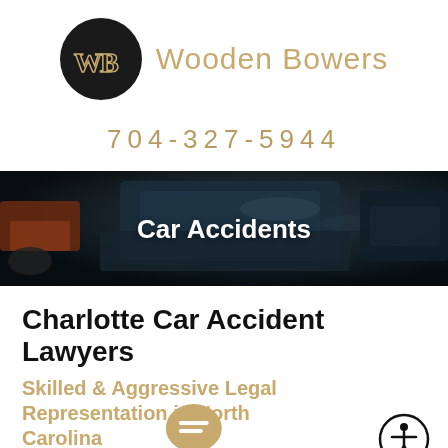[Figure (logo): Wooden Bowers law firm logo: dark circle with WB monogram in gold, followed by 'Wooden Bowers' in tan serif text]
704-327-5944
[Figure (photo): Aerial view of damaged/wrecked cars in a dark, moody tone used as a hero banner background for 'Car Accidents']
Car Accidents
Charlotte Car Accident Lawyers
Skilled & Aggressive Legal Representation in North Carolina